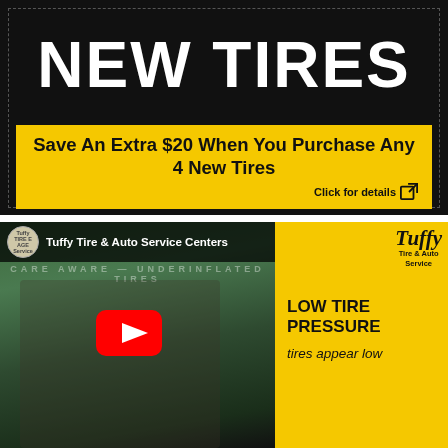NEW TIRES
Save An Extra $20 When You Purchase Any 4 New Tires
Click for details
[Figure (screenshot): Video thumbnail showing Tuffy Tire & Auto Service Centers YouTube video about low tire pressure, with a woman checking tire pressure, YouTube play button overlay, and yellow side panel reading LOW TIRE PRESSURE - tires appear low]